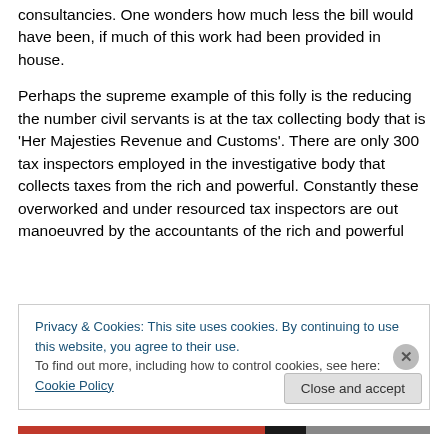consultancies. One wonders how much less the bill would have been,  if much of this work had been provided in house.
Perhaps the supreme example of this folly is the reducing the number civil servants is at the tax collecting body that is ‘Her Majesties Revenue and Customs’.  There are only 300 tax inspectors employed in the investigative body that collects taxes from the rich and powerful. Constantly these overworked and under resourced tax inspectors are out manoeuvred by the accountants of the rich and powerful so they frequently fail to collect the tax owed.  In
Privacy & Cookies: This site uses cookies. By continuing to use this website, you agree to their use.
To find out more, including how to control cookies, see here: Cookie Policy